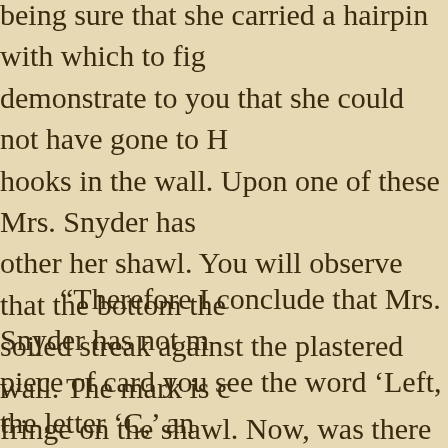being sure that she carried a hairpin with which to — demonstrate to you that she could not have gone to H hooks in the wall. Upon one of these Mrs. Snyder has other her shawl. You will observe that the bottom the soiled streak against the plastered wall. The mark is c fringe on the shawl. Now, was there ever a case wher shawl, boarded a Harlem train without there being a f gate and delay the passengers behind her? So we eli
“Therefore I conclude that Mrs. Snyder has not m piece of card you see the word ‘Left, the letter ‘C,’ an know that No. 12 Avenue C is a first-class boarding h – as we suppose. But then I find this piece of a theatr shape. What meaning does it convey? None to you, v eloquent to one whose habits and training take cogni
“You have told me that your sister was a scrub wo offices and hallways. Let us assume that she procure Where is valuable jewellery lost the oftenest, Mr. Mee at that piece of programme, Mr. Meeks. Observe the wrapped around a ring – perhaps a ring of great value work in the theatre. She hastily tore off a piece of a p